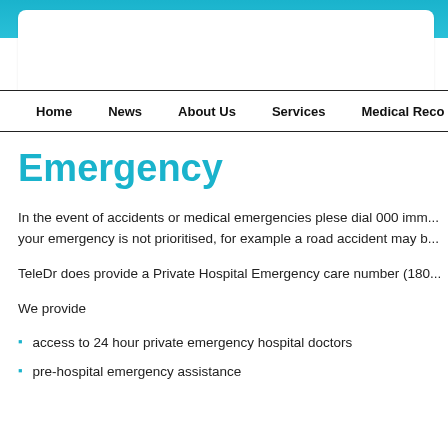Navigation bar: Home | News | About Us | Services | Medical Reco...
Emergency
In the event of accidents or medical emergencies plese dial 000 imm... your emergency is not prioritised, for example a road accident may b...
TeleDr does provide a Private Hospital Emergency care number (180...
We provide
access to 24 hour private emergency hospital doctors
pre-hospital emergency assistance